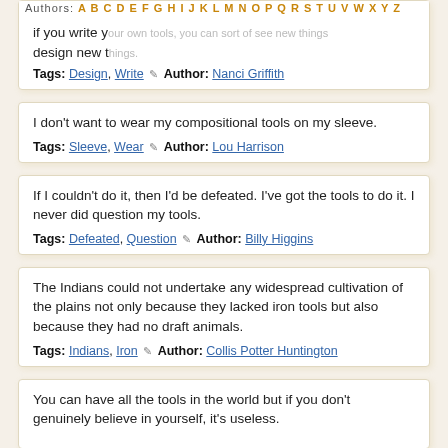if you write your own tools, you can sort of see new things design new things. Tags: Design, Write Author: Nanci Griffith
I don't want to wear my compositional tools on my sleeve. Tags: Sleeve, Wear Author: Lou Harrison
If I couldn't do it, then I'd be defeated. I've got the tools to do it. I never did question my tools. Tags: Defeated, Question Author: Billy Higgins
The Indians could not undertake any widespread cultivation of the plains not only because they lacked iron tools but also because they had no draft animals. Tags: Indians, Iron Author: Collis Potter Huntington
You can have all the tools in the world but if you don't genuinely believe in yourself, it's useless.